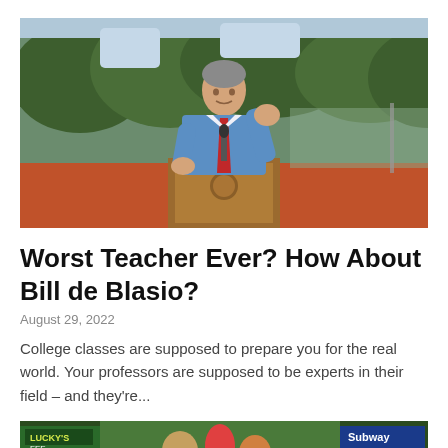[Figure (photo): A man in a blue shirt and red tie speaking at a wooden podium outdoors, with trees and a red running track visible in the background. The man appears to be gesturing with his right hand raised.]
Worst Teacher Ever? How About Bill de Blasio?
August 29, 2022
College classes are supposed to prepare you for the real world. Your professors are supposed to be experts in their field – and they're...
[Figure (photo): Partial view of a street scene with signs visible including text suggesting a busy urban area with store signs.]